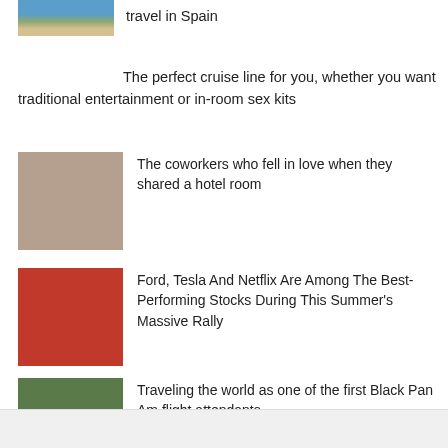[Figure (photo): Coastal town in Spain with blue water and buildings on hillside]
travel in Spain
The perfect cruise line for you, whether you want traditional entertainment or in-room sex kits
[Figure (photo): Two women smiling in a selfie, one wearing sunglasses]
The coworkers who fell in love when they shared a hotel room
[Figure (photo): Red and dark trucks/cars parked in a row]
Ford, Tesla And Netflix Are Among The Best-Performing Stocks During This Summer's Massive Rally
[Figure (photo): Person standing outdoors among green foliage]
Traveling the world as one of the first Black Pan Am flight attendants